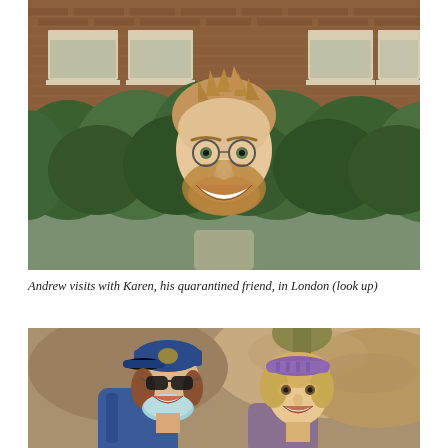[Figure (photo): A man with spiky brown hair, round glasses, and a beard laughs joyfully, looking upward. He is standing in front of a dense green hedge, with a red-brick building featuring white-trimmed windows visible in the background. The photo is taken from below looking up.]
Andrew visits with Karen, his quarantined friend, in London (look up)
[Figure (photo): Two women outdoors laughing together. The woman on the left wears a blue baseball cap, sunglasses, and a light blue face mask pulled down, with a blue backpack. She has reddish-brown hair. The woman on the right wears a purple headband and has blonde hair. They are standing in front of a rocky hillside.]